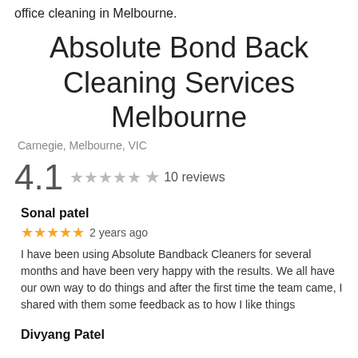office cleaning in Melbourne.
Absolute Bond Back Cleaning Services Melbourne
Carnegie, Melbourne, VIC
4.1  ★  10 reviews
Sonal patel
★★★★★ 2 years ago
I have been using Absolute Bandback Cleaners for several months and have been very happy with the results. We all have our own way to do things and after the first time the team came, I shared with them some feedback as to how I like things
Divyang Patel